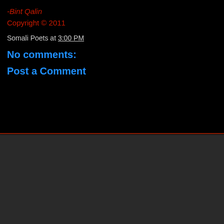-Bint Qalin
Copyright © 2011
Somali Poets at 3:00 PM
No comments:
Post a Comment
‹
Home
›
View web version